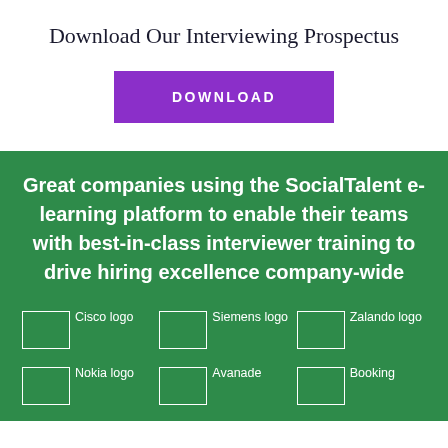Download Our Interviewing Prospectus
DOWNLOAD
Great companies using the SocialTalent e-learning platform to enable their teams with best-in-class interviewer training to drive hiring excellence company-wide
[Figure (logo): Cisco logo (broken image)]
[Figure (logo): Siemens logo (broken image)]
[Figure (logo): Zalando logo (broken image)]
[Figure (logo): Nokia logo (broken image)]
[Figure (logo): Avanade logo (broken image)]
[Figure (logo): Booking logo (broken image)]